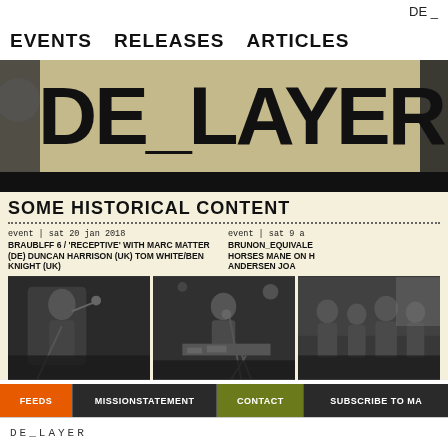DE _
EVENTS   RELEASES   ARTICLES
DE_LAYER
SOME HISTORICAL CONTENT
event | sat 20 jan 2018
BRAUBLFF 6 / 'RECEPTIVE' WITH MARC MATTER (DE) DUNCAN HARRISON (UK) TOM WHITE/BEN KNIGHT (UK)
event | sat 9 a
BRUNON_EQUIVALE
HORSES MANE ON H
ANDERSEN JOA
[Figure (photo): Black and white photo of a performer on stage playing/singing into a microphone]
[Figure (photo): Black and white photo of a person performing/working with equipment on stage]
[Figure (photo): Black and white photo of audience and performers at an event]
FEEDS   MISSIONSTATEMENT   CONTACT   SUBSCRIBE TO MA
DE_LAYER